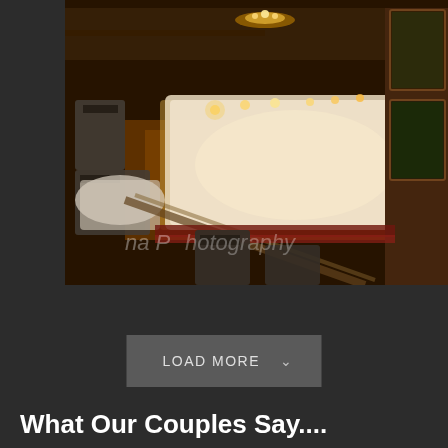[Figure (photo): Fisheye lens photograph of an elegantly decorated wedding reception hall with a long banquet table covered in glowing white fabric, dark wood paneling, warm amber lighting, and chairs with dark sashes. A watermark reading 'na Photography' is visible at the bottom of the image.]
LOAD MORE
What Our Couples Say....